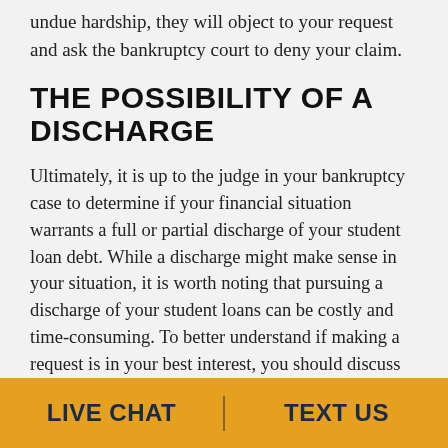undue hardship, they will object to your request and ask the bankruptcy court to deny your claim.
THE POSSIBILITY OF A DISCHARGE
Ultimately, it is up to the judge in your bankruptcy case to determine if your financial situation warrants a full or partial discharge of your student loan debt. While a discharge might make sense in your situation, it is worth noting that pursuing a discharge of your student loans can be costly and time-consuming. To better understand if making a request is in your best interest, you should discuss your case with an experienced Nevada bankruptcy attorney. If you have questions about how
LIVE CHAT   TEXT US